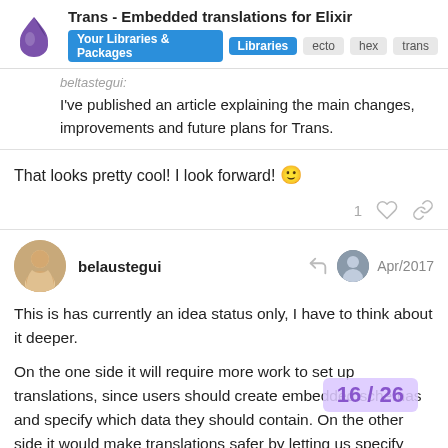Trans - Embedded translations for Elixir | Your Libraries & Packages | Libraries | ecto | hex | trans
beltastegui: I've published an article explaining the main changes, improvements and future plans for Trans.
That looks pretty cool! I look forward! 🙂
belaustegui Apr/2017
This is has currently an idea status only, I have to think about it deeper.

On the one side it will require more work to set up translations, since users should create embedded schemas and specify which data they should contain. On the other side it would make translations safer by letting us specify valid etc.